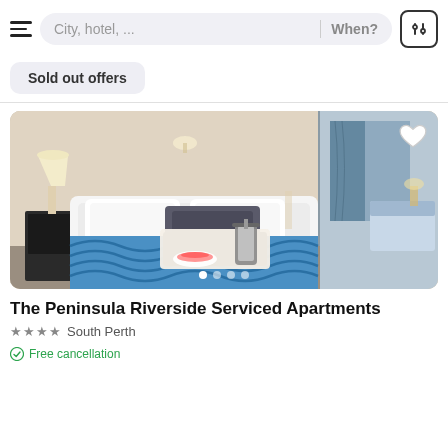City, hotel, ...   When?
Sold out offers
[Figure (photo): Hotel room photo showing a neatly made white bed with blue patterned bedspread, a French press coffee maker and fruit on a tray, white walls, a bedside lamp, and a mirror reflecting another room with blue curtains.]
The Peninsula Riverside Serviced Apartments
★★★★ South Perth
Free cancellation